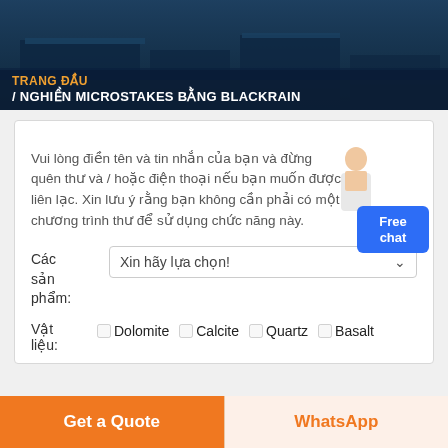[Figure (photo): Header image of industrial facility with dark blue tones and buildings visible from aerial view]
TRANG ĐẦU / NGHIỀN MICROSTAKES BẰNG BLACKRAIN
Vui lòng điền tên và tin nhắn của bạn và đừng quên thư và / hoặc điện thoại nếu bạn muốn được liên lạc. Xin lưu ý rằng bạn không cần phải có một chương trình thư để sử dụng chức năng này.
Các sản phẩm: [dropdown] Xin hãy lựa chọn!
Vật liệu: □ Dolomite □ Calcite □ Quartz □ Basalt
Get a Quote | WhatsApp